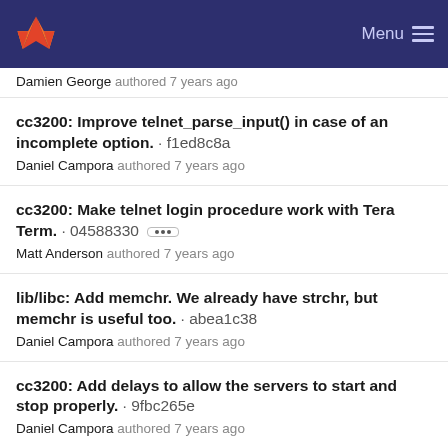GitLab — Menu
Damien George authored 7 years ago
cc3200: Improve telnet_parse_input() in case of an incomplete option. · f1ed8c8a
Daniel Campora authored 7 years ago
cc3200: Make telnet login procedure work with Tera Term. · 04588330 [...]
Matt Anderson authored 7 years ago
lib/libc: Add memchr. We already have strchr, but memchr is useful too. · abea1c38
Daniel Campora authored 7 years ago
cc3200: Add delays to allow the servers to start and stop properly. · 9fbc265e
Daniel Campora authored 7 years ago
cc3200: Select NIC when the socket is created. · d34c4784
[...]